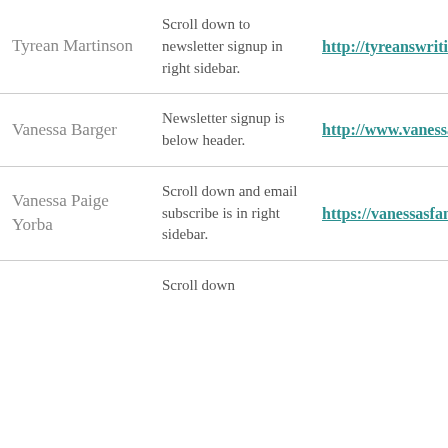| Name | Instructions | Link |
| --- | --- | --- |
| Tyrean Martinson | Scroll down to newsletter signup in right sidebar. | http://tyreanswritings... |
| Vanessa Barger | Newsletter signup is below header. | http://www.vanessaba... |
| Vanessa Paige Yorba | Scroll down and email subscribe is in right sidebar. | https://vanessasfantas... |
|  | Scroll down |  |